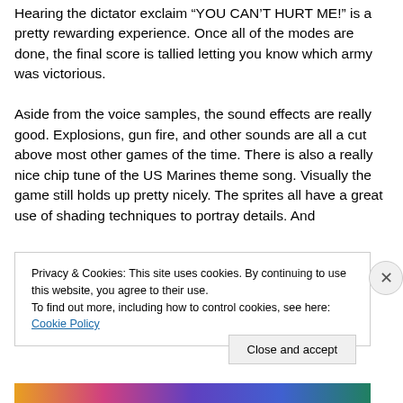Hearing the dictator exclaim “YOU CAN’T HURT ME!” is a pretty rewarding experience. Once all of the modes are done, the final score is tallied letting you know which army was victorious.

Aside from the voice samples, the sound effects are really good. Explosions, gun fire, and other sounds are all a cut above most other games of the time. There is also a really nice chip tune of the US Marines theme song. Visually the game still holds up pretty nicely. The sprites all have a great use of shading techniques to portray details. And
Privacy & Cookies: This site uses cookies. By continuing to use this website, you agree to their use.
To find out more, including how to control cookies, see here: Cookie Policy